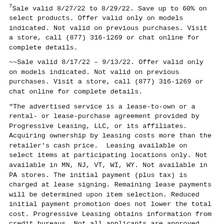7Sale valid 8/27/22 to 8/29/22. Save up to 60% on select products. Offer valid only on models indicated. Not valid on previous purchases. Visit a store, call (877) 316-1269 or chat online for complete details.
~~Sale valid 8/17/22 – 9/13/22. Offer valid only on models indicated. Not valid on previous purchases. Visit a store, call (877) 316-1269 or chat online for complete details.
"The advertised service is a lease-to-own or a rental- or lease-purchase agreement provided by Progressive Leasing, LLC, or its affiliates. Acquiring ownership by leasing costs more than the retailer's cash price. Leasing available on select items at participating locations only. Not available in MN, NJ, VT, WI, WY. Not available in PA stores. The initial payment (plus tax) is charged at lease signing. Remaining lease payments will be determined upon item selection. Reduced initial payment promotion does not lower the total cost. Progressive Leasing obtains information from credit bureaus. Not all applicants are approved. Available for applications 8/24/22 – 9/13/22.
12Offer valid from 8/17/22 to 9/13/22 or while supplies lastwith mattress purchase of $449.99+. Guests who shop in stores, via phone or via chat will receive two free tulo bedding items (valued up to $49.99 each) or two credits (valued at $50 each) to put toward any